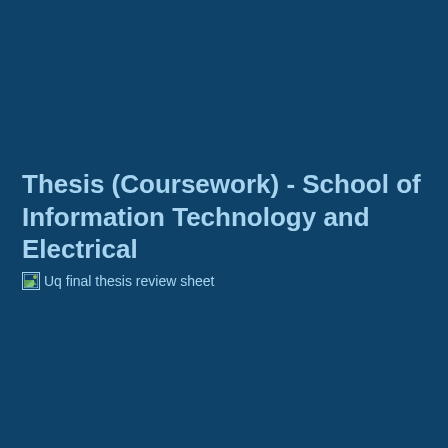Thesis (Coursework) - School of Information Technology and Electrical
[Figure (other): Broken image icon followed by link text reading 'Uq final thesis review sheet']